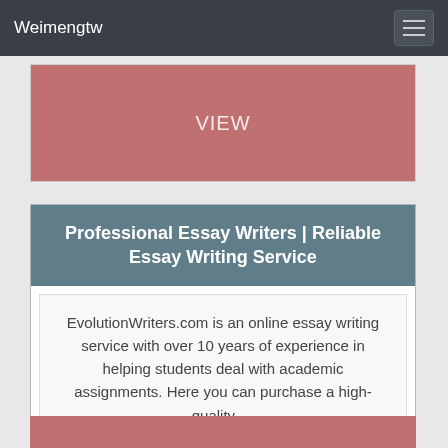Weimengtw
[Figure (screenshot): VIEW button in salmon/rose color]
Professional Essay Writers | Reliable Essay Writing Service
EvolutionWriters.com is an online essay writing service with over 10 years of experience in helping students deal with academic assignments. Here you can purchase a high-quality …
[Figure (screenshot): VIEW button in salmon/rose color at bottom]